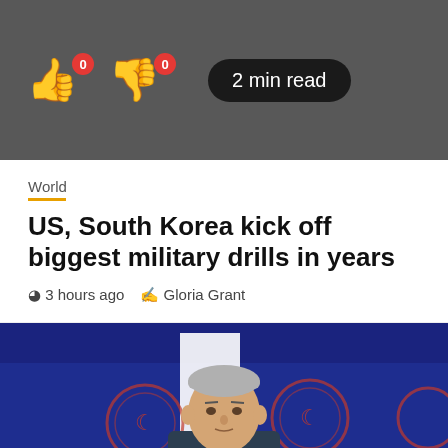👍 0  👎 0  2 min read
World
US, South Korea kick off biggest military drills in years
3 hours ago  Gloria Grant
[Figure (photo): A man in a dark suit speaking at a podium with Turkish foreign ministry logos in the background, white-gray hair, with a blue tie]